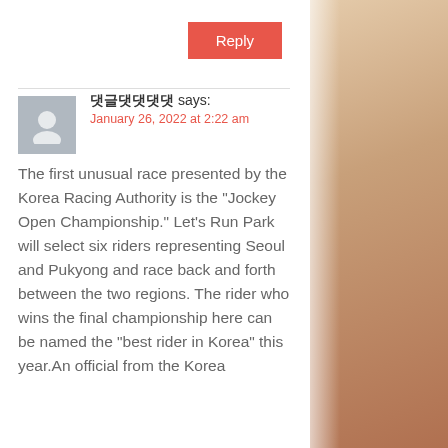Reply
댓글댓댓댓댓 says:
January 26, 2022 at 2:22 am
The first unusual race presented by the Korea Racing Authority is the “Jockey Open Championship.” Let’s Run Park will select six riders representing Seoul and Pukyong and race back and forth between the two regions. The rider who wins the final championship here can be named the “best rider in Korea” this year.An official from the Korea